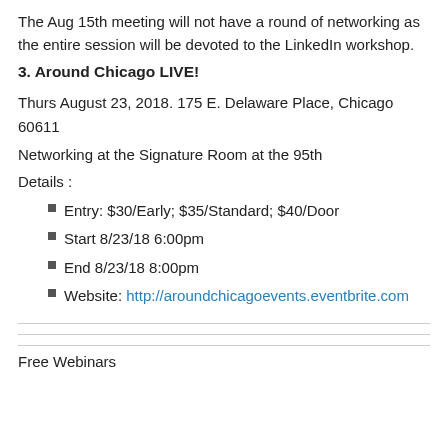The Aug 15th meeting will not have a round of networking as the entire session will be devoted to the LinkedIn workshop.
3. Around Chicago LIVE!
Thurs August 23, 2018. 175 E. Delaware Place, Chicago 60611
Networking at the Signature Room at the 95th
Details :
Entry: $30/Early; $35/Standard; $40/Door
Start 8/23/18 6:00pm
End 8/23/18 8:00pm
Website: http://aroundchicagoevents.eventbrite.com
Free Webinars